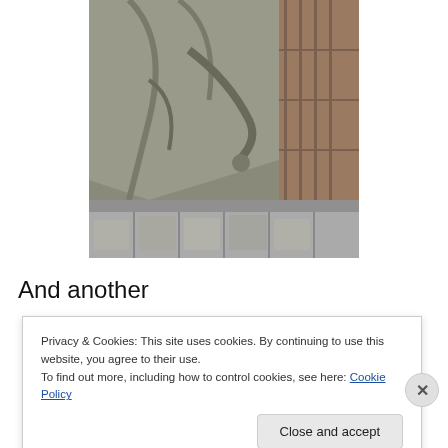[Figure (photo): Close-up photo of a stone relief sculpture showing a figure carved in stone, with stone block masonry visible below and a brick/stone building in the background]
And another
[Figure (photo): Partial photo of trees with green foliage against a cloudy sky, partially obscured by cookie consent overlay]
Privacy & Cookies: This site uses cookies. By continuing to use this website, you agree to their use.
To find out more, including how to control cookies, see here: Cookie Policy